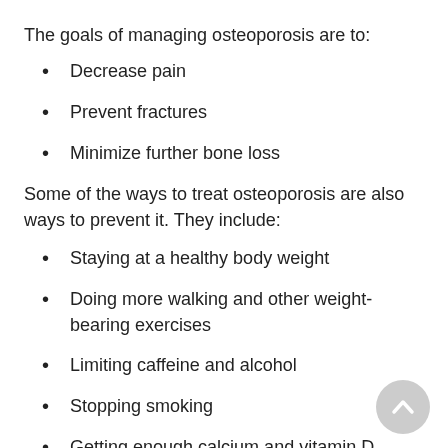The goals of managing osteoporosis are to:
Decrease pain
Prevent fractures
Minimize further bone loss
Some of the ways to treat osteoporosis are also ways to prevent it. They include:
Staying at a healthy body weight
Doing more walking and other weight-bearing exercises
Limiting caffeine and alcohol
Stopping smoking
Getting enough calcium and vitamin D through diet and supplements
Installing hand railings, or assistive devices in the